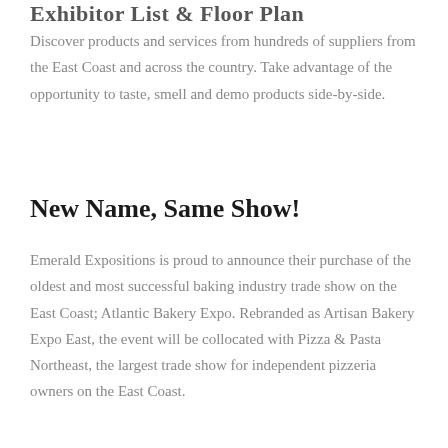Exhibitor List & Floor Plan
Discover products and services from hundreds of suppliers from the East Coast and across the country. Take advantage of the opportunity to taste, smell and demo products side-by-side.
New Name, Same Show!
Emerald Expositions is proud to announce their purchase of the oldest and most successful baking industry trade show on the East Coast; Atlantic Bakery Expo. Rebranded as Artisan Bakery Expo East, the event will be collocated with Pizza & Pasta Northeast, the largest trade show for independent pizzeria owners on the East Coast.